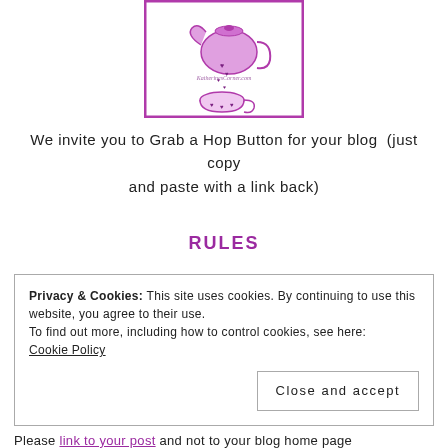[Figure (logo): Katherine's Corner blog logo — illustrated teapot pouring hearts into a teacup, purple border, script text 'KatherinesCorner.com']
We invite you to Grab a Hop Button for your blog  (just copy and paste with a link back)
RULES
Privacy & Cookies: This site uses cookies. By continuing to use this website, you agree to their use.
To find out more, including how to control cookies, see here:
Cookie Policy
[Close and accept]
Please link to your post and not to your blog home page